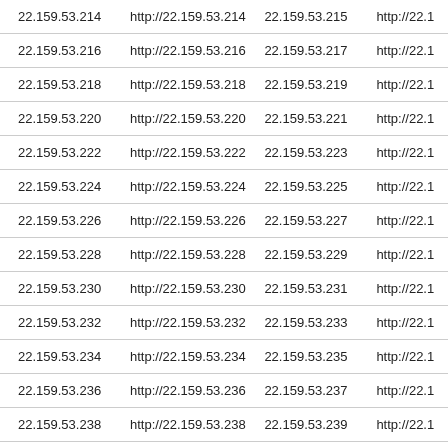| 22.159.53.214 | http://22.159.53.214 | 22.159.53.215 | http://22.1 |
| 22.159.53.216 | http://22.159.53.216 | 22.159.53.217 | http://22.1 |
| 22.159.53.218 | http://22.159.53.218 | 22.159.53.219 | http://22.1 |
| 22.159.53.220 | http://22.159.53.220 | 22.159.53.221 | http://22.1 |
| 22.159.53.222 | http://22.159.53.222 | 22.159.53.223 | http://22.1 |
| 22.159.53.224 | http://22.159.53.224 | 22.159.53.225 | http://22.1 |
| 22.159.53.226 | http://22.159.53.226 | 22.159.53.227 | http://22.1 |
| 22.159.53.228 | http://22.159.53.228 | 22.159.53.229 | http://22.1 |
| 22.159.53.230 | http://22.159.53.230 | 22.159.53.231 | http://22.1 |
| 22.159.53.232 | http://22.159.53.232 | 22.159.53.233 | http://22.1 |
| 22.159.53.234 | http://22.159.53.234 | 22.159.53.235 | http://22.1 |
| 22.159.53.236 | http://22.159.53.236 | 22.159.53.237 | http://22.1 |
| 22.159.53.238 | http://22.159.53.238 | 22.159.53.239 | http://22.1 |